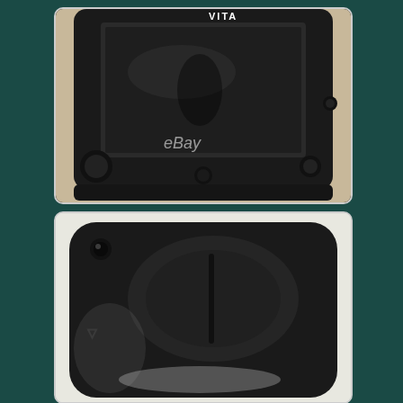[Figure (photo): Close-up photo of a PS Vita handheld gaming console screen, showing the VITA logo at the top, the dark display with an eBay watermark, and bottom buttons visible. Device is black.]
[Figure (photo): Close-up photo of the back of a PS Vita handheld gaming console showing the PlayStation logo and the rear touchpad, black device on a white surface.]